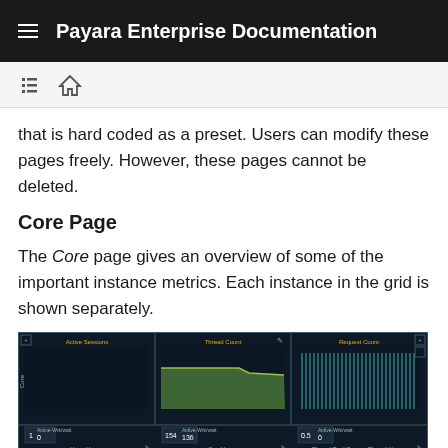Payara Enterprise Documentation
that is hard coded as a preset. Users can modify these pages freely. However, these pages cannot be deleted.
Core Page
The Core page gives an overview of some of the important instance metrics. Each instance in the grid is shown separately.
[Figure (screenshot): Payara Enterprise dashboard screenshot showing Core page with Active Sessions, Thread Count, and Request Count panels in a dark-themed UI with charts and metrics.]